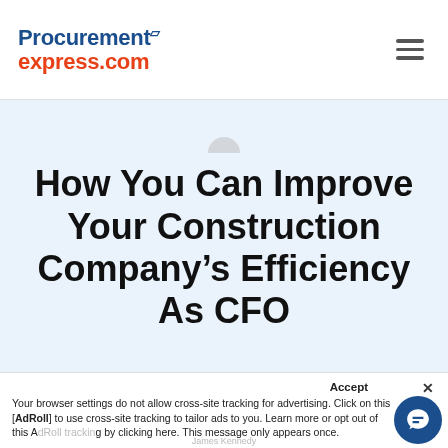Procurement express.com
How You Can Improve Your Construction Company’s Efficiency As CFO
Accept  × Your browser settings do not allow cross-site tracking for advertising. Click on this [button] AdRoll to use cross-site tracking to tailor ads to you. Learn more or opt out of this AdRoll [tracking] by clicking here. This message only appears once.